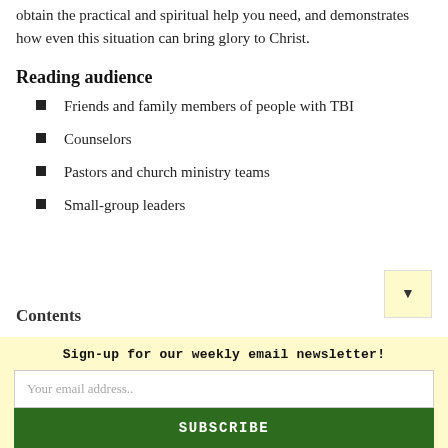obtain the practical and spiritual help you need, and demonstrates how even this situation can bring glory to Christ.
Reading audience
Friends and family members of people with TBI
Counselors
Pastors and church ministry teams
Small-group leaders
Contents
Sign-up for our weekly email newsletter!
Your email address..
SUBSCRIBE